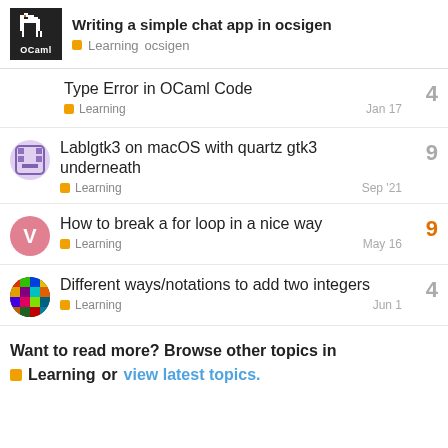Writing a simple chat app in ocsigen — Learning ocsigen
Type Error in OCaml Code — Learning — 4 replies — Jan 17
Lablgtk3 on macOS with quartz gtk3 underneath — Learning — 9 replies — Sep '21
How to break a for loop in a nice way — Learning — 9 replies — May 16
Different ways/notations to add two integers — Learning — 4 replies — Jun 1
Want to read more? Browse other topics in Learning or view latest topics.